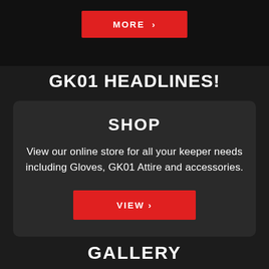[Figure (screenshot): Red MORE button with chevron on dark background]
GK01 HEADLINES!
SHOP
View our online store for all your keeper needs including Gloves, GK01 Attire and accessories.
[Figure (screenshot): Red VIEW button with chevron]
GALLERY